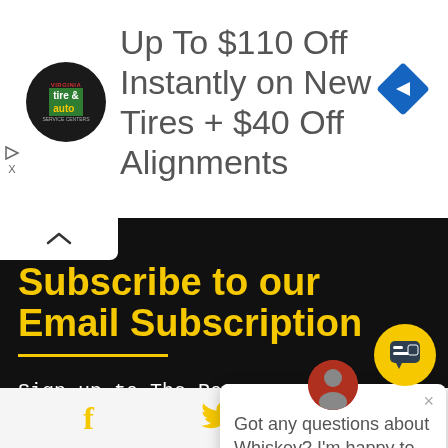[Figure (screenshot): Ad banner with tire and auto logo, text 'Up To $110 Off Instantly on New Tires + $40 Off Alignments', and a blue diamond arrow navigation icon]
Subscribe to our Email Subscription
Sign up to The Pot Still Newsletter and we'll email you the latest blog post... all things Whiskey, espe...
First name
[Figure (screenshot): Chat popup with avatar photo, close X button, and text 'Got any questions about Whiskey? I'm happy to help.']
[Figure (screenshot): Yellow circular chat button at bottom right]
f  (twitter bird icon)  in